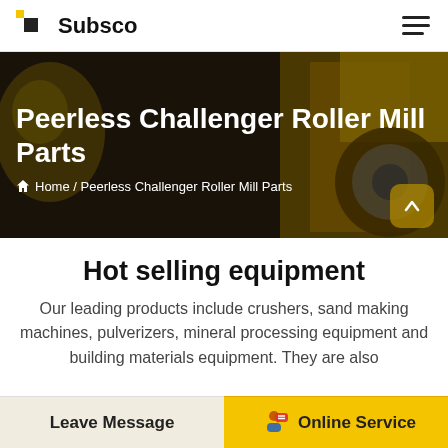Subsco
[Figure (photo): Industrial equipment background photo — roller mill machinery in yellow/gold, worker in hard hat visible at left edge. Used as hero banner background.]
Peerless Challenger Roller Mill Parts
Home / Peerless Challenger Roller Mill Parts
Hot selling equipment
Our leading products include crushers, sand making machines, pulverizers, mineral processing equipment and building materials equipment. They are also...